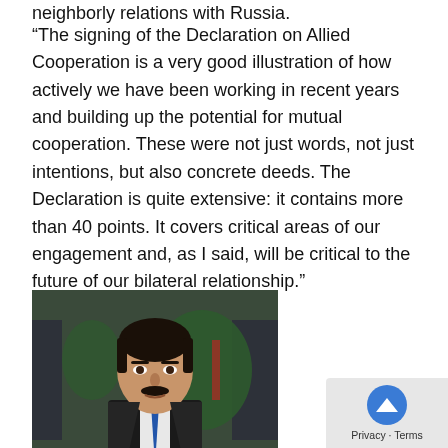neighborly relations with Russia.
“The signing of the Declaration on Allied Cooperation is a very good illustration of how actively we have been working in recent years and building up the potential for mutual cooperation. These were not just words, not just intentions, but also concrete deeds. The Declaration is quite extensive: it contains more than 40 points. It covers critical areas of our engagement and, as I said, will be critical to the future of our bilateral relationship.”
[Figure (photo): Portrait photo of Ilham Aliyev in a dark suit with a blue tie, standing in front of uniformed soldiers and a green tree background.]
Ilham Aliyev
President of Azerbaijan
After negotiations that lasted more than four hours, Putin and